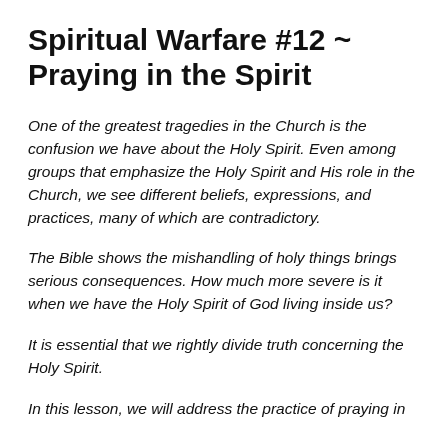Spiritual Warfare #12 ~ Praying in the Spirit
One of the greatest tragedies in the Church is the confusion we have about the Holy Spirit. Even among groups that emphasize the Holy Spirit and His role in the Church, we see different beliefs, expressions, and practices, many of which are contradictory.
The Bible shows the mishandling of holy things brings serious consequences. How much more severe is it when we have the Holy Spirit of God living inside us?
It is essential that we rightly divide truth concerning the Holy Spirit.
In this lesson, we will address the practice of praying in